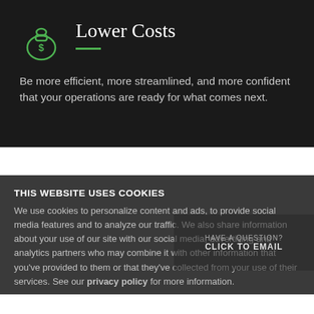[Figure (illustration): Green money bag icon with a dollar sign, outline style on dark background]
Lower Costs
Be more efficient, more streamlined, and more confident that your operations are ready for what comes next.
THIS WEBSITE USES COOKIES
We use cookies to personalize content and ads, to provide social media features and to analyze our traffic. We also share information about your use of our site with our social media, advertising and analytics partners who may combine it with other information that you've provided to them or that they've collected from your use of their services. See our privacy policy for more information.